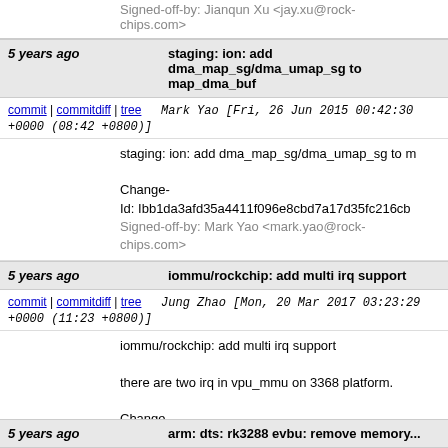Signed-off-by: Jianqun Xu <jay.xu@rock-chips.com>
5 years ago   staging: ion: add dma_map_sg/dma_umap_sg to map_dma_buf
commit | commitdiff | tree   Mark Yao [Fri, 26 Jun 2015 00:42:30 +0000 (08:42 +0800)]
staging: ion: add dma_map_sg/dma_umap_sg to m

Change-Id: Ibb1da3afd35a4411f096e8cbd7a17d35fc216cb
Signed-off-by: Mark Yao <mark.yao@rock-chips.com>
5 years ago   iommu/rockchip: add multi irq support
commit | commitdiff | tree   Jung Zhao [Mon, 20 Mar 2017 03:23:29 +0000 (11:23 +0800)]
iommu/rockchip: add multi irq support

there are two irq in vpu_mmu on 3368 platform.

Change-Id: I81d869c1ee536e31334a401a2ddb0e7f2226d4
Signed-off-by: Jung Zhao <jung.zhao@rock-chips.com>
5 years ago   arm: dts: rk3288 evbu: remove memory...